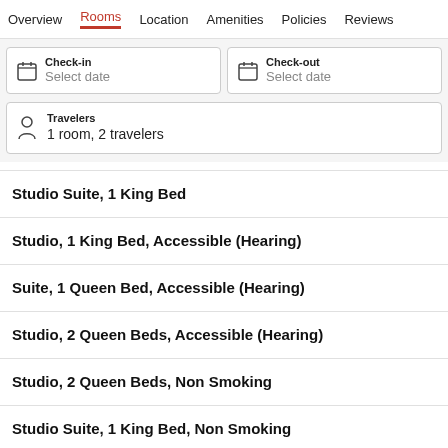Overview  Rooms  Location  Amenities  Policies  Reviews
Check-in
Select date
Check-out
Select date
Travelers
1 room, 2 travelers
Studio Suite, 1 King Bed
Studio, 1 King Bed, Accessible (Hearing)
Suite, 1 Queen Bed, Accessible (Hearing)
Studio, 2 Queen Beds, Accessible (Hearing)
Studio, 2 Queen Beds, Non Smoking
Studio Suite, 1 King Bed, Non Smoking